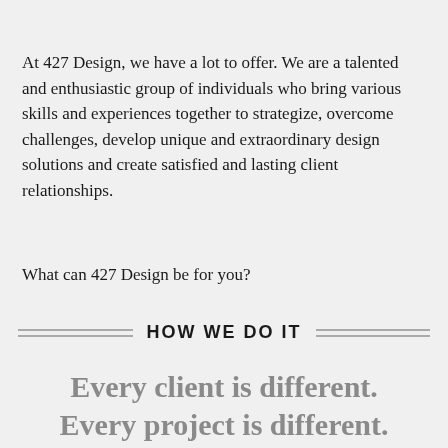At 427 Design, we have a lot to offer. We are a talented and enthusiastic group of individuals who bring various skills and experiences together to strategize, overcome challenges, develop unique and extraordinary design solutions and create satisfied and lasting client relationships.
What can 427 Design be for you?
HOW WE DO IT
Every client is different. Every project is different. And we approach every